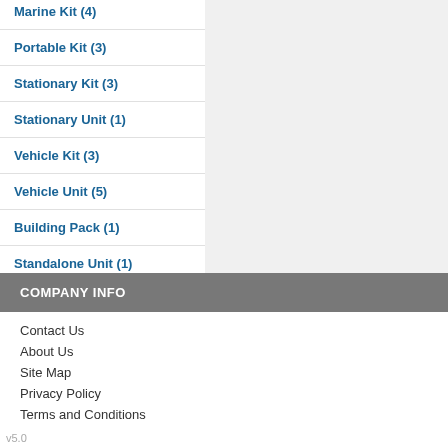Marine Kit (4)
Portable Kit (3)
Stationary Kit (3)
Stationary Unit (1)
Vehicle Kit (3)
Vehicle Unit (5)
Building Pack (1)
Standalone Unit (1)
+ Show more options
COMPANY INFO
Contact Us
About Us
Site Map
Privacy Policy
Terms and Conditions
v5.0